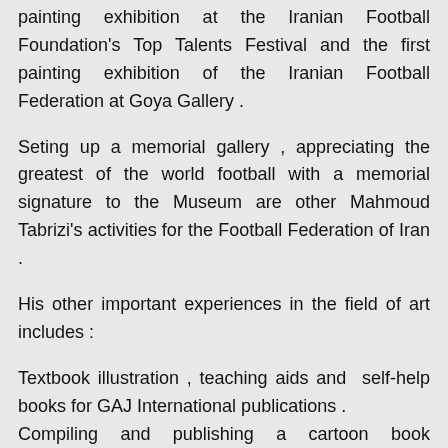painting exhibition at the Iranian Football Foundation's Top Talents Festival and the first painting exhibition of the Iranian Football Federation at Goya Gallery .
Seting up a memorial gallery , appreciating the greatest of the world football with a memorial signature to the Museum are other Mahmoud Tabrizi's activities for the Football Federation of Iran .
His other important experiences in the field of art includes :
Textbook illustration , teaching aids and  self-help books for GAJ International publications .
Compiling and publishing a cartoon book (Caricature) and several children's books . Ten years working and cooperating with magazines and newspapers department as a caricaturist .
Four years Working as a secretary of the cartoon service of